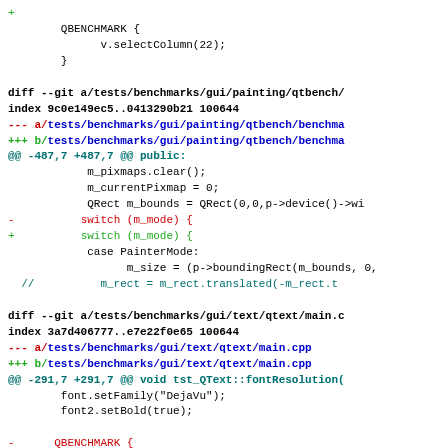Code diff showing changes to Qt benchmark tests including gui/painting/qtbench/benchmark and gui/text/qtext/main.cpp files